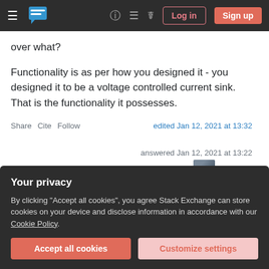Stack Exchange navigation bar with hamburger menu, logo, help, chat, search icons, Log in and Sign up buttons
over what?
Functionality is as per how you designed it - you designed it to be a voltage controlled current sink. That is the functionality it possesses.
Share   Cite   Follow   edited Jan 12, 2021 at 13:32
answered Jan 12, 2021 at 13:22
Andy aka
Your privacy
By clicking "Accept all cookies", you agree Stack Exchange can store cookies on your device and disclose information in accordance with our Cookie Policy.
Accept all cookies
Customize settings